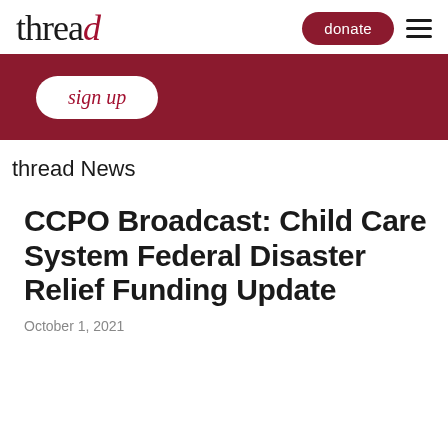thread | donate
[Figure (logo): Thread organization logo with stylized red 'd' character]
sign up
thread News
CCPO Broadcast: Child Care System Federal Disaster Relief Funding Update
October 1, 2021